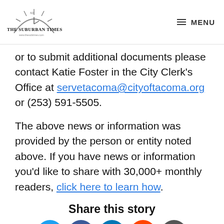THE SUBURBAN TIMES — MENU
or to submit additional documents please contact Katie Foster in the City Clerk's Office at servetacoma@cityoftacoma.org or (253) 591-5505.
The above news or information was provided by the person or entity noted above. If you have news or information you'd like to share with 30,000+ monthly readers, click here to learn how.
Share this story
[Figure (infographic): Row of social share buttons: Twitter (blue), Facebook (dark blue), LinkedIn (blue), Reddit (orange), Email (gray)]